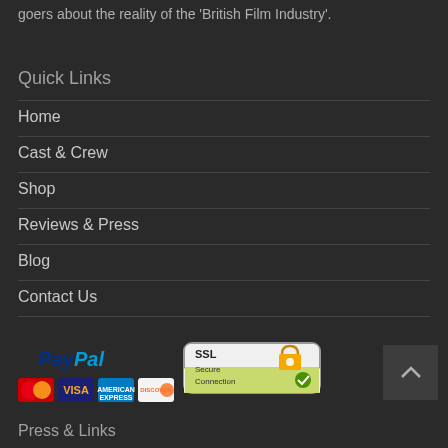goers about the reality of the 'British Film Industry'.
Quick Links
Home
Cast & Crew
Shop
Reviews & Press
Blog
Contact Us
[Figure (logo): PayPal logo with credit card icons (Mastercard, Visa, Amex, Discover) and SSL Secure Connection badge]
Press & Links